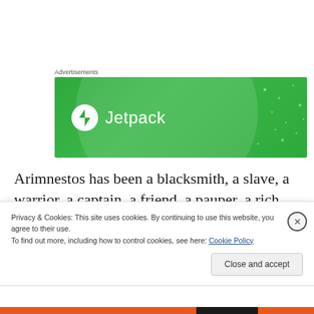Advertisements
[Figure (illustration): Jetpack advertisement banner — green background with circular gradient overlay and white Jetpack logo (lightning bolt icon in circle) and text 'Jetpack']
Arimnestos has been a blacksmith, a slave, a warrior, a captain, a friend, a pauper, a rich man, a legend and so much more. A life filled with every extreme and normality that can be lived, and Christian Cameron has a way of
Privacy & Cookies: This site uses cookies. By continuing to use this website, you agree to their use.
To find out more, including how to control cookies, see here: Cookie Policy
Close and accept